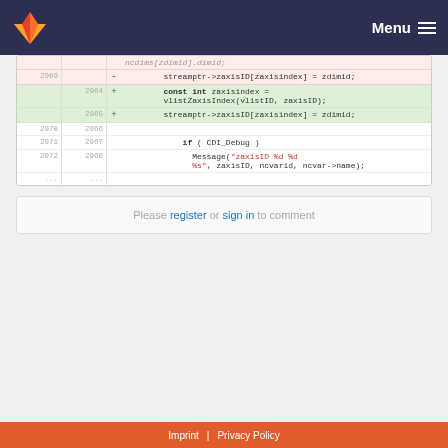GitLab Menu
[Figure (screenshot): Code diff view showing deleted line 2969 with streamptr->zaxisID[zaxisindex] = zdimid; and added lines 2964-2965 with const int zaxisindex = vlistZaxisIndex(vlistID, zaxisID); and streamptr->zaxisID[zaxisindex] = zdimid; followed by neutral lines 2970-2972 with if ( CDI_Debug ) Message("zaxisID %d %d %s", zaxisID, ncvarid, ncvar->name);]
Please register or sign in to comment
Imprint | Privacy Policy